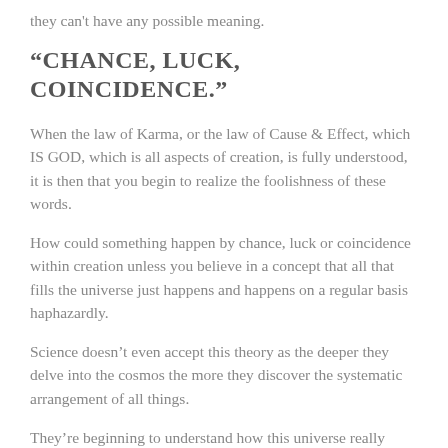they can't have any possible meaning.
“CHANCE, LUCK, COINCIDENCE.”
When the law of Karma, or the law of Cause & Effect, which IS GOD, which is all aspects of creation, is fully understood, it is then that you begin to realize the foolishness of these words.
How could something happen by chance, luck or coincidence within creation unless you believe in a concept that all that fills the universe just happens and happens on a regular basis haphazardly.
Science doesn’t even accept this theory as the deeper they delve into the cosmos the more they discover the systematic arrangement of all things.
They’re beginning to understand how this universe really